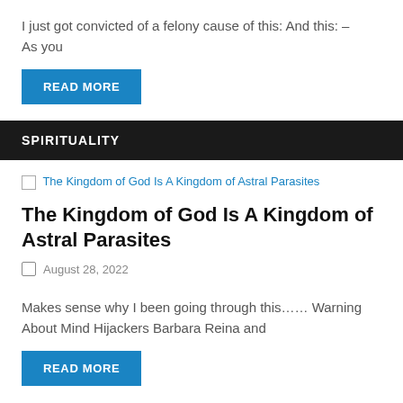I just got convicted of a felony cause of this: And this: – As you
READ MORE
SPIRITUALITY
[Figure (other): Broken image placeholder for: The Kingdom of God Is A Kingdom of Astral Parasites]
The Kingdom of God Is A Kingdom of Astral Parasites
August 28, 2022
Makes sense why I been going through this…… Warning About Mind Hijackers Barbara Reina and